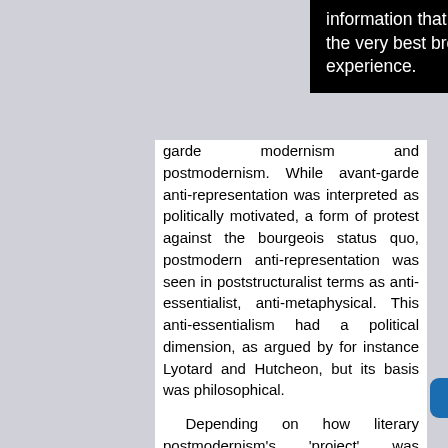[Figure (screenshot): Black banner/popup with white text reading 'information that help give you the very best browsing experience.']
garde modernism and postmodernism. While avant-garde anti-representation was interpreted as politically motivated, a form of protest against the bourgeois status quo, postmodern anti-representation was seen in poststructuralist terms as anti-essentialist, anti-metaphysical. This anti-essentialism had a political dimension, as argued by for instance Lyotard and Hutcheon, but its basis was philosophical.

Depending on how literary postmodernism's 'project' was interpreted, that postmodernism was pre-Socratic, pre-modern, avant-garde modern, self-consciously modern or indeed post-modern. It is not surprising, then, that the advent